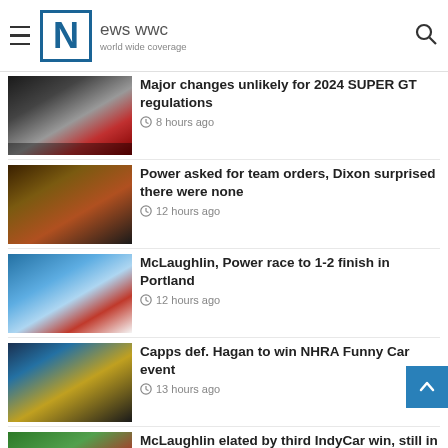News WWC - world wide coverage
F1 teams know they are 'vomit bags' for advertisers, says Wolff
[Figure (photo): Racing cars on track, SUPER GT race]
Major changes unlikely for 2024 SUPER GT regulations
8 hours ago
[Figure (photo): IndyCar racing, two cars on track]
Power asked for team orders, Dixon surprised there were none
12 hours ago
[Figure (photo): Victory celebration on podium, Portland IndyCar race]
McLaughlin, Power race to 1-2 finish in Portland
12 hours ago
[Figure (photo): NHRA Funny Car with smoke, blue and yellow car]
Capps def. Hagan to win NHRA Funny Car event
13 hours ago
[Figure (photo): Racing driver celebrating, wearing red cap]
McLaughlin elated by third IndyCar win, still in title hunt